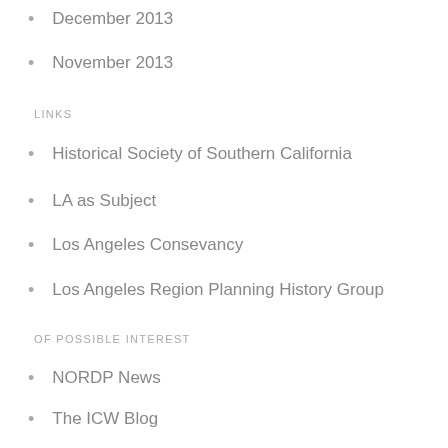December 2013
November 2013
LINKS
Historical Society of Southern California
LA as Subject
Los Angeles Consevancy
Los Angeles Region Planning History Group
OF POSSIBLE INTEREST
NORDP News
The ICW Blog
Bastard Urbanism
Marla Gottschalk
visual/method/culture